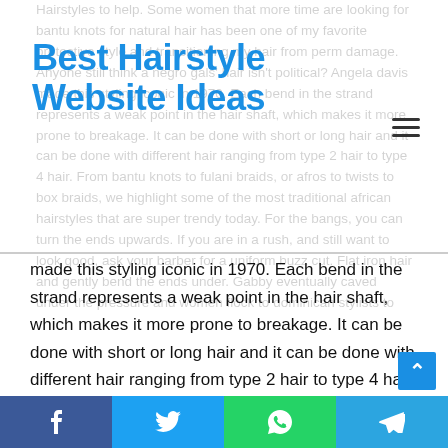Best Hairstyle Website Ideas
made this styling iconic in 1970. Each bend in the strand represents a weak point in the hair shaft, which makes it more prone to breakage. It can be done with short or long hair and it can be done with different hair ranging from type 2 hair to type 4 hair. From bantu knots to fulani braids, or afros to twists to box braids, we highlight some of the most traditional african hairstyles that are super trendy today. For the bangs, you can turn the ends upwards. If you are in a rush, and still want to look good, ask your barber for a uniform buzz cut. Flat iron hair and gently bend the ends under. Gabby eventually caved under the pressure and women flock to dominican stylists to
f  t  [whatsapp icon]  [telegram icon]